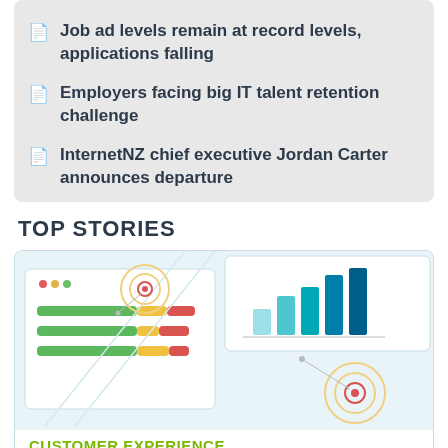Job ad levels remain at record levels, applications falling
Employers facing big IT talent retention challenge
InternetNZ chief executive Jordan Carter announces departure
TOP STORIES
[Figure (illustration): Dashboard illustration with bar chart, target/bulls-eye circles, and colored progress bars representing customer experience metrics]
CUSTOMER EXPERIENCE